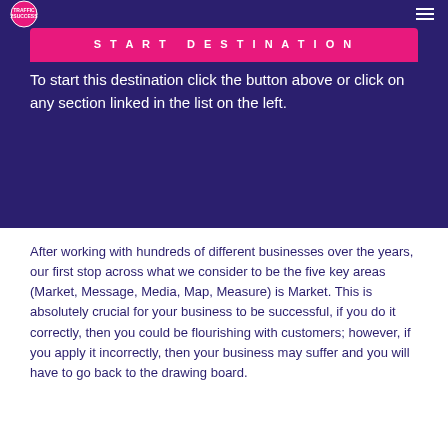2SUCCESS
Start Destination
To start this destination click the button above or click on any section linked in the list on the left.
After working with hundreds of different businesses over the years, our first stop across what we consider to be the five key areas (Market, Message, Media, Map, Measure) is Market. This is absolutely crucial for your business to be successful, if you do it correctly, then you could be flourishing with customers; however, if you apply it incorrectly, then your business may suffer and you will have to go back to the drawing board.